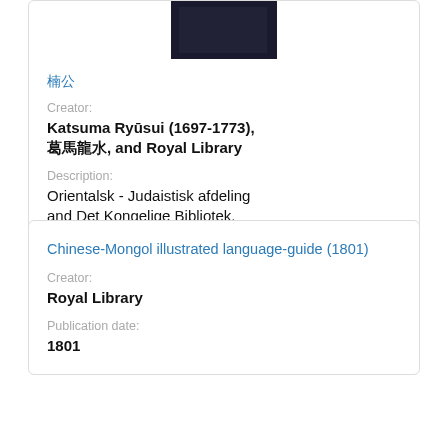[Figure (photo): Book cover image, dark/black]
楠公
Creator:
Katsuma Ryūsui (1697-1773), 葛馬龍水, and Royal Library
Description:
Orientalsk - Judaistisk afdeling and Det Kongelige Bibliotek.
Publication date:
1778
Chinese-Mongol illustrated language-guide (1801)
Creator:
Royal Library
Publication date:
1801